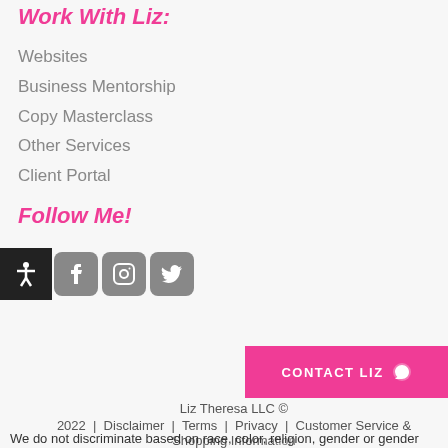Work With Liz:
Websites
Business Mentorship
Copy Masterclass
Other Services
Client Portal
Follow Me!
[Figure (illustration): Accessibility icon button (person with arms out) in black square, followed by Facebook, Instagram, and Twitter social media icons in gray rounded squares]
Liz Theresa LLC © 2022  |  Disclaimer  |  Terms  |  Privacy  |  Customer Service & Shopping Information
We do not discriminate based on race, color, religion, gender or gender